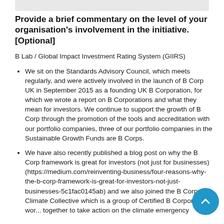Provide a brief commentary on the level of your organisation's involvement in the initiative. [Optional]
B Lab / Global Impact Investment Rating System (GIIRS)
We sit on the Standards Advisory Council, which meets regularly, and were actively involved in the launch of B Corp UK in September 2015 as a founding UK B Corporation, for which we wrote a report on B Corporations and what they mean for investors. We continue to support the growth of B Corp through the promotion of the tools and accreditation with our portfolio companies, three of our portfolio companies in the Sustainable Growth Funds are B Corps.
We have also recently published a blog post on why the B Corp framework is great for investors (not just for businesses) (https://medium.com/reinventing-business/four-reasons-why-the-b-corp-framework-is-great-for-investors-not-just-businesses-5c1fac0145ab) and we also joined the B Corp Climate Collective which is a group of Certified B Corporations working together to take action on the climate emergency